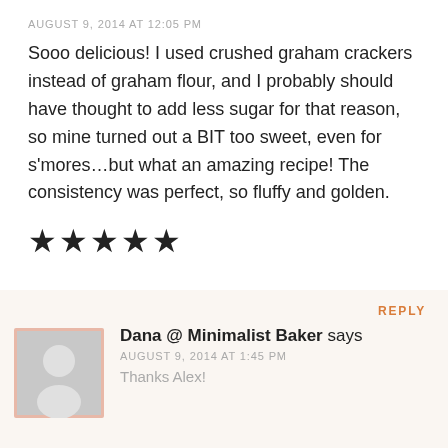AUGUST 9, 2014 AT 12:05 PM
Sooo delicious! I used crushed graham crackers instead of graham flour, and I probably should have thought to add less sugar for that reason, so mine turned out a BIT too sweet, even for s'mores…but what an amazing recipe! The consistency was perfect, so fluffy and golden.
[Figure (other): Five black star rating icons]
REPLY
[Figure (other): Generic user avatar image placeholder with pink/salmon border, grey background with silhouette]
Dana @ Minimalist Baker says
AUGUST 9, 2014 AT 1:45 PM
Thanks Alex!